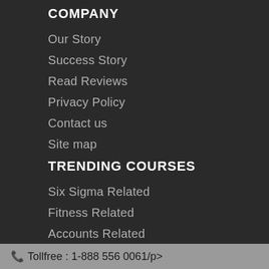COMPANY
Our Story
Success Story
Read Reviews
Privacy Policy
Contact us
Site map
TRENDING COURSES
Six Sigma Related
Fitness Related
Accounts Related
Business Related
Microsoft Technologies
Teaching Certification
Tollfree : 1-888 556 0061/p>